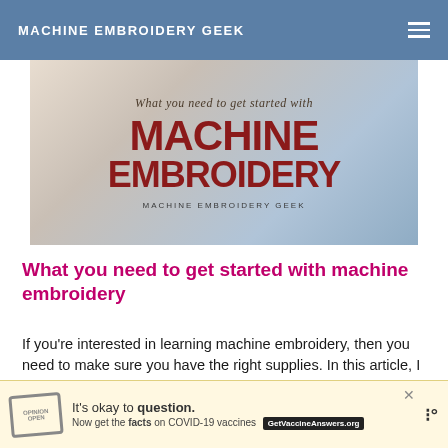MACHINE EMBROIDERY GEEK
[Figure (photo): Promotional image with script text 'What you need to get started with' and large bold red text 'MACHINE EMBROIDERY' and brand label 'MACHINE EMBROIDERY GEEK' at the bottom, over a background photo of someone doing embroidery.]
What you need to get started with machine embroidery
If you’re interested in learning machine embroidery, then you need to make sure you have the right supplies. In this article, I will break down exactly what you need to get started with machine embroidery. Obviously,
[Figure (infographic): Advertisement banner: 'It’s okay to question. Now get the facts on COVID-19 vaccines' with a GetVaccineAnswers.org button and a stamp icon.]